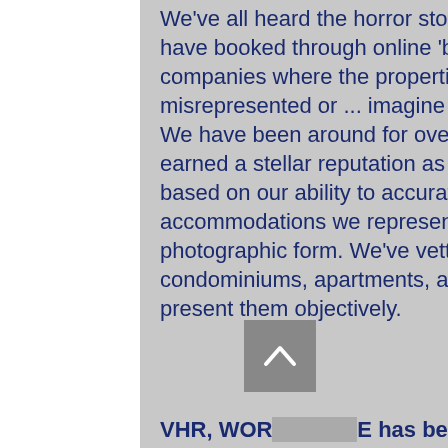We've all heard the horror stories about people who have booked through online 'bulletin board' companies where the properties are either sorely misrepresented or ... imagine ... don't exist at all!  We have been around for over 30 years, and have earned a stellar reputation as experts in our field based on our ability to accurately portray the accommodations we represent, both in written and photographic form. We've vetted the villas, condominiums, apartments, and private islands and present them objectively.
VHR, WOR... E has been